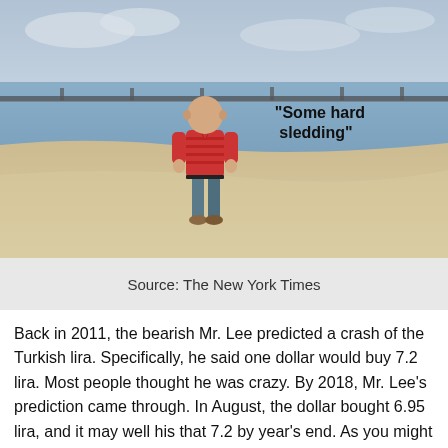[Figure (photo): A man in a red striped polo shirt and grey trousers stands on a sandy beach with a long bridge visible in the background over calm water. A quote reads: “Some hard sledding” is overlaid on the photo.]
Source: The New York Times
Back in 2011, the bearish Mr. Lee predicted a crash of the Turkish lira. Specifically, he said one dollar would buy 7.2 lira. Most people thought he was crazy. By 2018, Mr. Lee’s prediction came through. In August, the dollar bought 6.95 lira, and it may well his that 7.2 by year’s end. As you might expect, Mr. Lee was